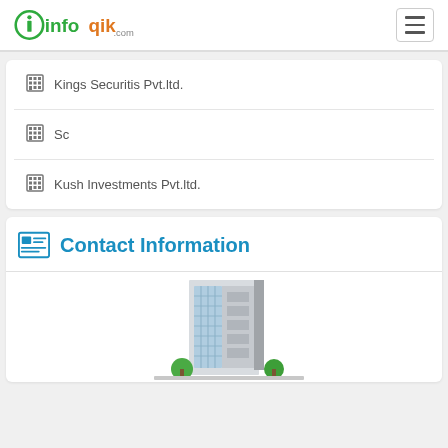infoqik.com
Kings Securitis Pvt.ltd.
Sc
Kush Investments Pvt.ltd.
Contact Information
[Figure (illustration): Illustration of a modern office building with glass facade and green trees at the base]